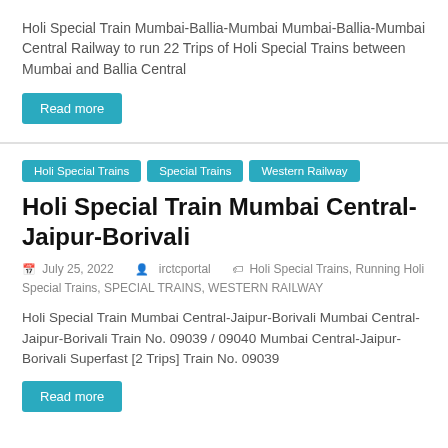Holi Special Train Mumbai-Ballia-Mumbai Mumbai-Ballia-Mumbai Central Railway to run 22 Trips of Holi Special Trains between Mumbai and Ballia Central
Read more
Holi Special Trains  Special Trains  Western Railway
Holi Special Train Mumbai Central-Jaipur-Borivali
July 25, 2022   irctcportal   Holi Special Trains, Running Holi Special Trains, SPECIAL TRAINS, WESTERN RAILWAY
Holi Special Train Mumbai Central-Jaipur-Borivali Mumbai Central-Jaipur-Borivali Train No. 09039 / 09040 Mumbai Central-Jaipur-Borivali Superfast [2 Trips] Train No. 09039
Read more